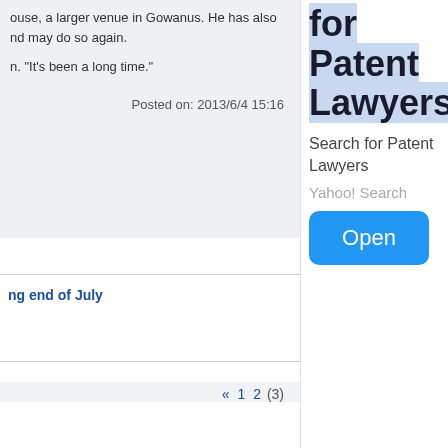ouse, a larger venue in Gowanus. He has also nd may do so again.
n. "It's been a long time."
Posted on: 2013/6/4 15:16
ng end of July
« 1 2 (3)
for Patent Lawyers
Search for Patent Lawyers
Yahoo! Search
Open